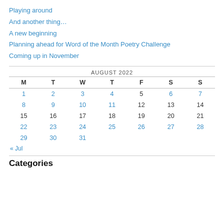Playing around
And another thing…
A new beginning
Planning ahead for Word of the Month Poetry Challenge
Coming up in November
| M | T | W | T | F | S | S |
| --- | --- | --- | --- | --- | --- | --- |
| 1 | 2 | 3 | 4 | 5 | 6 | 7 |
| 8 | 9 | 10 | 11 | 12 | 13 | 14 |
| 15 | 16 | 17 | 18 | 19 | 20 | 21 |
| 22 | 23 | 24 | 25 | 26 | 27 | 28 |
| 29 | 30 | 31 |  |  |  |  |
« Jul
Categories